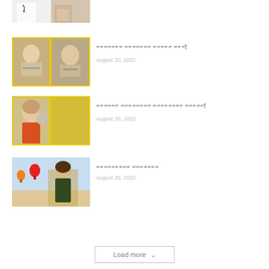[Figure (photo): Partial thumbnail of a doctor/medical person in white coat, cropped at top of page]
[Figure (photo): Yellow-background thumbnail with two images of a person in a car]
??? ?????? ??????? ???????!
August 20, 2022
[Figure (photo): Yellow-background thumbnail with a woman holding a cat]
?????? ???????? ???????? ??????!
August 20, 2022
[Figure (photo): Thumbnail of a woman outdoors with hot air balloons in background]
??????? ?????????
August 20, 2022
Load more